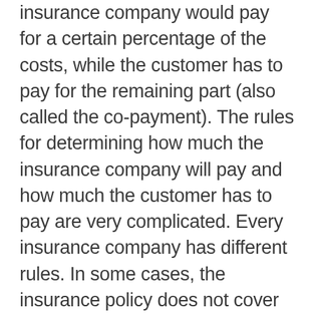insurance company would pay for a certain percentage of the costs, while the customer has to pay for the remaining part (also called the co-payment). The rules for determining how much the insurance company will pay and how much the customer has to pay are very complicated. Every insurance company has different rules. In some cases, the insurance policy does not cover one or several drugs in a prescription, but the drug in question can be replaced by another drug that is covered by the insurance policy. When such cases are detected, the pharmacist generally calls the doctor and/or the patient to determine if it is possible to perform the drug replacement. Once the prescription passes the insurance check, it is assigned to a technician who collects the drugs from the shelves and puts them in a bag